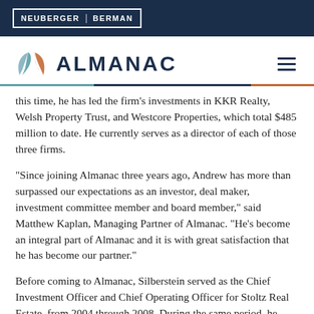NEUBERGER BERMAN
[Figure (logo): Almanac logo with stylized leaf/wing icon and ALMANAC wordmark in navy blue, hamburger menu icon on right]
this time, he has led the firm's investments in KKR Realty, Welsh Property Trust, and Westcore Properties, which total $485 million to date. He currently serves as a director of each of those three firms.
"Since joining Almanac three years ago, Andrew has more than surpassed our expectations as an investor, deal maker, investment committee member and board member," said Matthew Kaplan, Managing Partner of Almanac. "He's become an integral part of Almanac and it is with great satisfaction that he has become our partner."
Before coming to Almanac, Silberstein served as the Chief Investment Officer and Chief Operating Officer for Stoltz Real Estate, from 2004 through 2008. During the same period, he